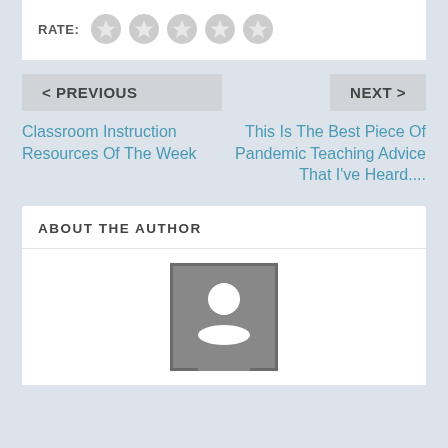RATE: ☆☆☆☆☆
< PREVIOUS
NEXT >
Classroom Instruction Resources Of The Week
This Is The Best Piece Of Pandemic Teaching Advice That I've Heard....
ABOUT THE AUTHOR
[Figure (illustration): Generic user avatar placeholder image — dark gray square with white silhouette of a person]